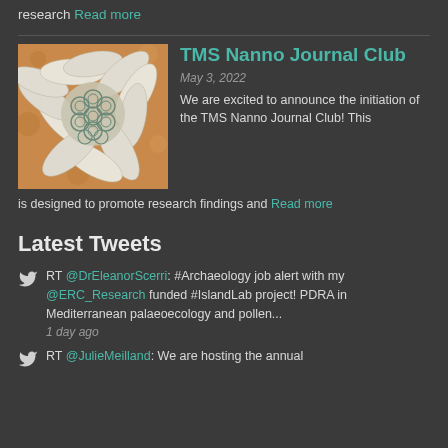research Read more
TMS Nanno Journal Club
May 3, 2022
[Figure (photo): Scanning electron microscope image of a coccolithophore or similar marine microorganism with circular plates and elongated projections on an orange-brown background]
We are excited to announce the initiation of the TMS Nanno Journal Club! This is designed to promote research findings and Read more
Latest Tweets
RT @DrEleanorScerri: #Archaeology job alert with my @ERC_Research funded #IslandLab project! PDRA in Mediterranean palaeoecology and pollen...
1 day ago
RT @JulieMeilland: We are hosting the annual